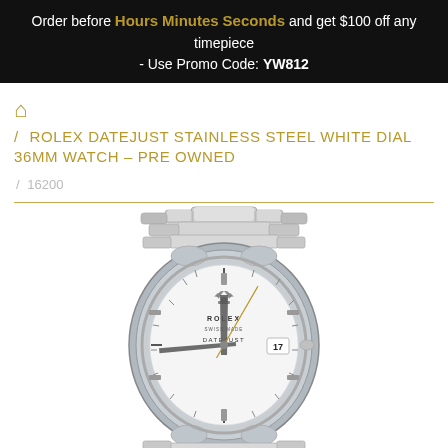Order before Hours Minutes Seconds and get $100 off any timepiece - Use Promo Code: YW812
/ ROLEX DATEJUST STAINLESS STEEL WHITE DIAL 36MM WATCH – PRE OWNED
/ 16200
[Figure (photo): Rolex Datejust stainless steel watch with white dial and oyster bracelet, showing date display at 3 o'clock position with date showing 17]